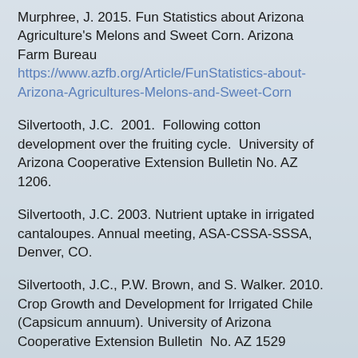Murphree, J. 2015. Fun Statistics about Arizona Agriculture's Melons and Sweet Corn. Arizona Farm Bureau https://www.azfb.org/Article/FunStatistics-about-Arizona-Agricultures-Melons-and-Sweet-Corn
Silvertooth, J.C.  2001.  Following cotton development over the fruiting cycle.  University of Arizona Cooperative Extension Bulletin No. AZ 1206.
Silvertooth, J.C. 2003. Nutrient uptake in irrigated cantaloupes. Annual meeting, ASA-CSSA-SSSA, Denver, CO.
Silvertooth, J.C., P.W. Brown, and S. Walker. 2010. Crop Growth and Development for Irrigated Chile (Capsicum annuum). University of Arizona Cooperative Extension Bulletin  No. AZ 1529
Simonne, A., E. Simonne, R. Boozer, and J. Pitts. 1998. A